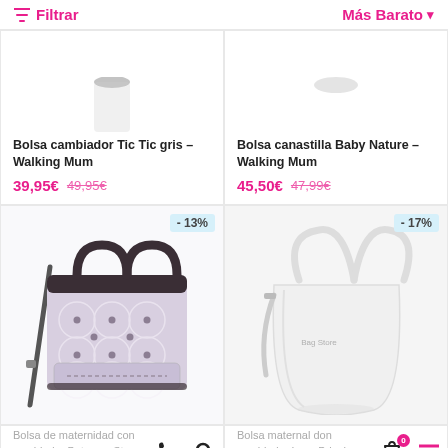Filtrar | Más Barato
[Figure (photo): Top portion of Bolsa cambiador Tic Tic gris - Walking Mum product photo (partially visible)]
Bolsa cambiador Tic Tic gris - Walking Mum
39,95€ 49,95€
[Figure (photo): Top portion of Bolsa canastilla Baby Nature - Walking Mum product photo (partially visible)]
Bolsa canastilla Baby Nature - Walking Mum
45,50€ 47,99€
[Figure (photo): Bolsa de maternidad con cambiador Between Stars - Tuc tuc, gray patterned diaper bag with dark handles, -13% discount badge]
[Figure (photo): Bolsa maternal con cambiador Love Briache - Tuc tuc, white leather tote bag, -17% discount badge]
Bolsa de maternidad con cambiador Between Stars – Tuc
Bolsa maternal don cambiador Love Briache – Tuc tuc